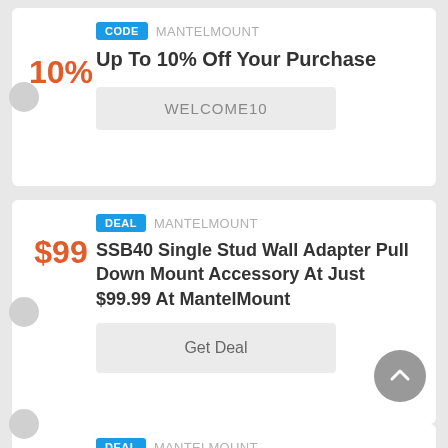CODE  MANTELMOUNT
Up To 10% Off Your Purchase
10%
WELCOME10
DEAL  MANTELMOUNT
SSB40 Single Stud Wall Adapter Pull Down Mount Accessory At Just $99.99 At MantelMount
$99
Get Deal
DEAL  MANTELMOUNT
EC40 Cable Routing...